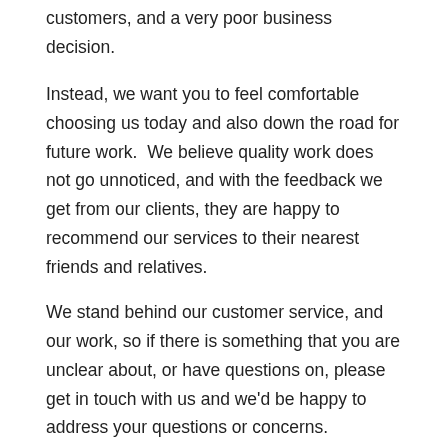customers, and a very poor business decision.
Instead, we want you to feel comfortable choosing us today and also down the road for future work.  We believe quality work does not go unnoticed, and with the feedback we get from our clients, they are happy to recommend our services to their nearest friends and relatives.
We stand behind our customer service, and our work, so if there is something that you are unclear about, or have questions on, please get in touch with us and we'd be happy to address your questions or concerns.
Services We Provide
We focus on almost anything that is masonry related.  From the smallest of residential projects to the much larger commercial projects, we have the experience and know-how to tackle any